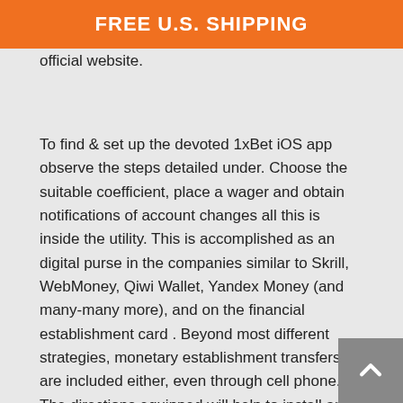FREE U.S. SHIPPING
official website.
To find & set up the devoted 1xBet iOS app observe the steps detailed under. Choose the suitable coefficient, place a wager and obtain notifications of account changes all this is inside the utility. This is accomplished as an digital purse in the companies similar to Skrill, WebMoney, Qiwi Wallet, Yandex Money (and many-many more), and on the financial establishment card . Beyond most different strategies, monetary establishment transfers are included either, even through cell phone. The directions equipped will help to install any utility appropriately. If you've any sort of questions, you must use the web chitchat, which works 24/7.
To contact them, just decide the strategy you wish to initiate the contact. For Windows Phone, Blackberry, Symbian and completely different working methods, the 1X wager cellular app isn't out there. So, in case you are operating another OS apart from Android